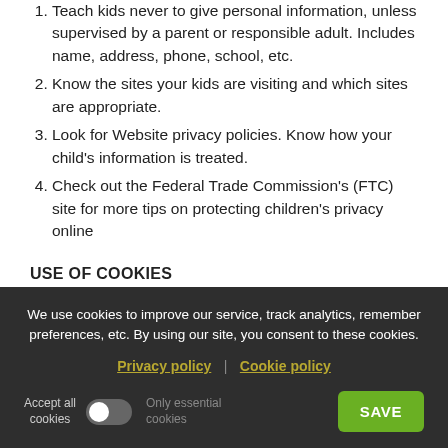1. Teach kids never to give personal information, unless supervised by a parent or responsible adult. Includes name, address, phone, school, etc.
2. Know the sites your kids are visiting and which sites are appropriate.
3. Look for Website privacy policies. Know how your child's information is treated.
4. Check out the Federal Trade Commission's (FTC) site for more tips on protecting children's privacy online
USE OF COOKIES
Cookies are pieces of information that a website transfers to an individual's computer hard drive for record keeping purposes. Cookies make using the COMPANY'S SITE easier
We use cookies to improve our service, track analytics, remember preferences, etc. By using our site, you consent to these cookies.
Privacy policy | Cookie policy
Accept all cookies | Only essential cookies | SAVE